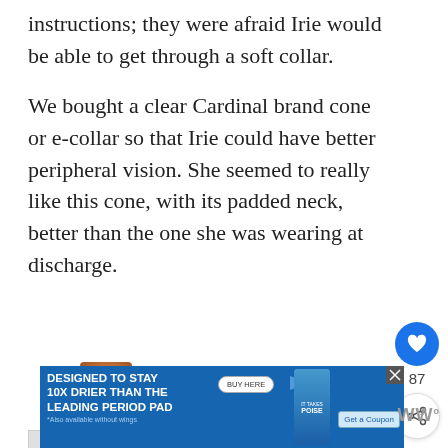instructions; they were afraid Irie would be able to get through a soft collar.
We bought a clear Cardinal brand cone or e-collar so that Irie could have better peripheral vision. She seemed to really like this cone, with its padded neck, better than the one she was wearing at discharge.
[Figure (screenshot): Social media interaction buttons: heart/like button (blue circle with heart icon) with count of 87, and a share button below it]
[Figure (infographic): What's Next panel showing a thumbnail of a dog and text 'Helping Your Dog Stay Ca...']
[Figure (screenshot): Advertisement banner with blue background: 'DESIGNED TO STAY 10x DRIER THAN THE LEADING PERIOD PAD *Also available without wings' with BUY HERE button, product image, IT TAKES POISE text, and Get a Coupon button]